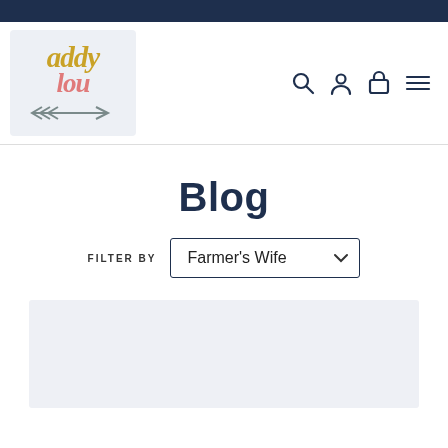[Figure (logo): Addy Lou brand logo with stylized text 'addy' in gold italic and 'lou' in coral/pink italic, with a grey arrow graphic below, on a light grey background]
Blog
FILTER BY  Farmer's Wife
[Figure (photo): Light grey placeholder image area for a blog post]